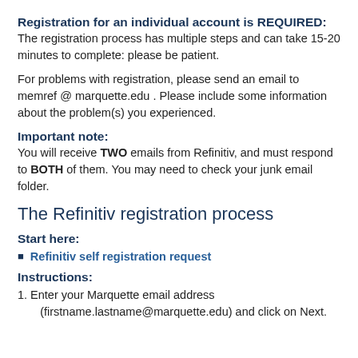Registration for an individual account is REQUIRED:
The registration process has multiple steps and can take 15-20 minutes to complete: please be patient.
For problems with registration, please send an email to memref @ marquette.edu . Please include some information about the problem(s) you experienced.
Important note:
You will receive TWO emails from Refinitiv, and must respond to BOTH of them. You may need to check your junk email folder.
The Refinitiv registration process
Start here:
Refinitiv self registration request
Instructions:
1. Enter your Marquette email address (firstname.lastname@marquette.edu) and click on Next.